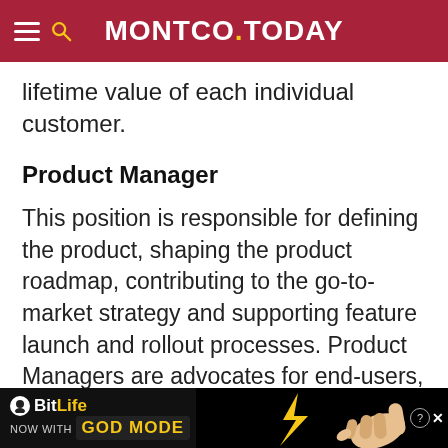MONTCO.TODAY
lifetime value of each individual customer.
Product Manager
This position is responsible for defining the product, shaping the product roadmap, contributing to the go-to-market strategy and supporting feature launch and rollout processes. Product Managers are advocates for end-users, customers and prospects, so their passion for anticipating customer needs and creating innovative solutions for them will define their success in this role.
[Figure (other): BitLife advertisement banner with 'NOW WITH GOD MODE' text and hand pointing gesture illustration]